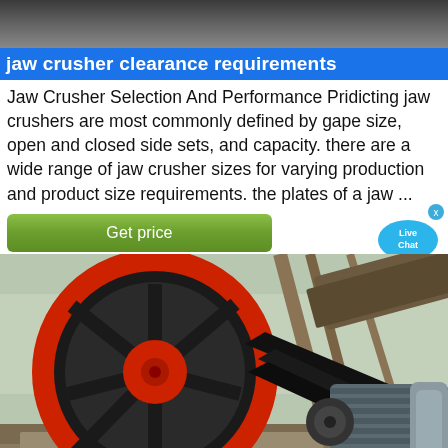[Figure (photo): Top portion of industrial machinery or equipment, dark/grey toned photo strip]
jaw crusher clearance requirements
Jaw Crusher Selection And Performance Pridicting jaw crushers are most commonly defined by gape size, open and closed side sets, and capacity. there are a wide range of jaw crusher sizes for varying production and product size requirements. the plates of a jaw ...
[Figure (photo): Photograph of a jaw crusher mechanism showing a large red flywheel/pulley connected via black belt drives to a grey electric motor, set outdoors with industrial framework and bare trees in background]